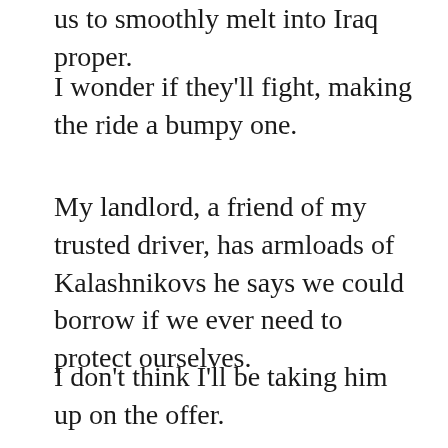us to smoothly melt into Iraq proper.
I wonder if they'll fight, making the ride a bumpy one.
My landlord, a friend of my trusted driver, has armloads of Kalashnikovs he says we could borrow if we ever need to protect ourselves.
I don't think I'll be taking him up on the offer.